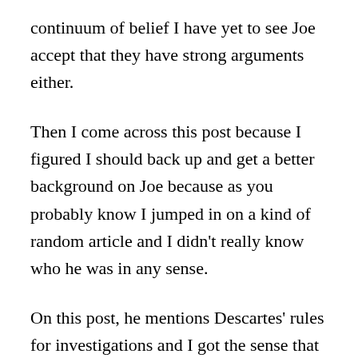continuum of belief I have yet to see Joe accept that they have strong arguments either.
Then I come across this post because I figured I should back up and get a better background on Joe because as you probably know I jumped in on a kind of random article and I didn't really know who he was in any sense.
On this post, he mentions Descartes' rules for investigations and I got the sense that one way to generalize what Joe says is to observe that both sides of the Christian/atheist divide (in America we